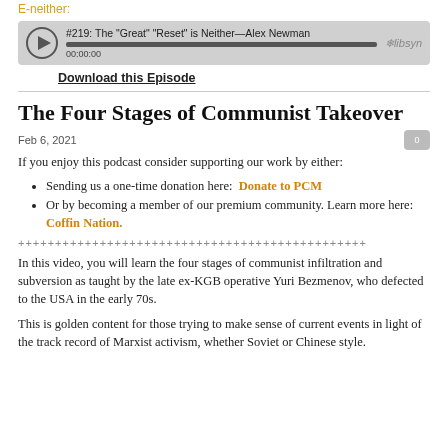E-neither:
[Figure (other): Libsyn podcast audio player showing episode #219: The "Great" "Reset" is Neither—Alex Newman, with play button, progress bar, and timestamp 00:00:00]
Download this Episode
The Four Stages of Communist Takeover
Feb 6, 2021
If you enjoy this podcast consider supporting our work by either:
Sending us a one-time donation here:  Donate to PCM
Or by becoming a member of our premium community. Learn more here: Coffin Nation.
+++++++++++++++++++++++++++++++++++++++++++++++
In this video, you will learn the four stages of communist infiltration and subversion as taught by the late ex-KGB operative Yuri Bezmenov, who defected to the USA in the early 70s.
This is golden content for those trying to make sense of current events in light of the track record of Marxist activism, whether Soviet or Chinese style.